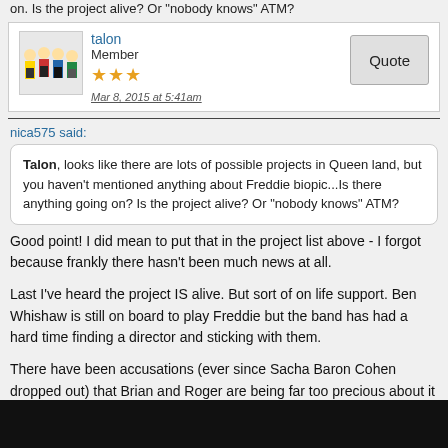on. Is the project alive? Or "nobody knows" ATM?
talon
Member
Mar 8, 2015 at 5:41am
Quote
nica575 said:
Talon, looks like there are lots of possible projects in Queen land, but you haven't mentioned anything about Freddie biopic...Is there anything going on? Is the project alive? Or "nobody knows" ATM?
Good point!  I did mean to put that in the project list above - I forgot because frankly there hasn't been much news at all.
Last I've heard the project IS alive.  But sort of on life support.  Ben Whishaw is still on board to play Freddie but the band has had a hard time finding  a director and sticking with them.
There have been accusations (ever since Sacha Baron Cohen dropped out) that Brian and Roger are being far too precious about it and trying to turn the story into a Disney PG style film that covers up any dirt in the name of protecting Freddie’s legacy